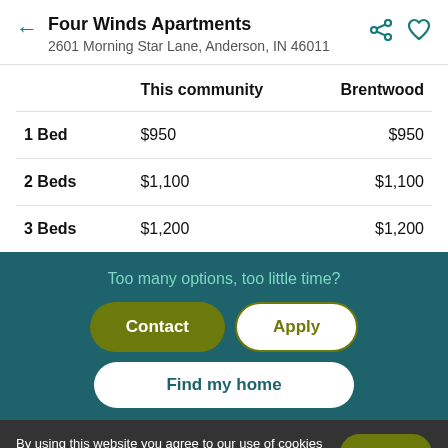Four Winds Apartments
2601 Morning Star Lane, Anderson, IN 46011
|  | This community | Brentwood |
| --- | --- | --- |
| 1 Bed | $950 | $950 |
| 2 Beds | $1,100 | $1,100 |
| 3 Beds | $1,200 | $1,200 |
Too many options, too little time?
Contact
Apply
Find my home
By using this website you agree to our use of cookies as described in our cookie policy.
Got it!